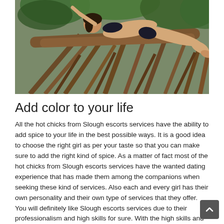[Figure (photo): A woman in a black bikini lying on the roots/branches of a large tropical tree in a jungle setting]
Add color to your life
All the hot chicks from Slough escorts services have the ability to add spice to your life in the best possible ways. It is a good idea to choose the right girl as per your taste so that you can make sure to add the right kind of spice. As a matter of fact most of the hot chicks from Slough escorts services have the wanted dating experience that has made them among the companions when seeking these kind of services. Also each and every girl has their own personality and their own type of services that they offer. You will definitely like Slough escorts services due to their professionalism and high skills for sure. With the high skills and professionalism the Slough escorts services that they will